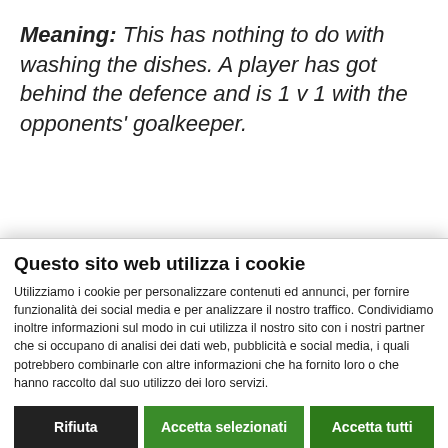Meaning: This has nothing to do with washing the dishes. A player has got behind the defence and is 1 v 1 with the opponents' goalkeeper.
Questo sito web utilizza i cookie
Utilizziamo i cookie per personalizzare contenuti ed annunci, per fornire funzionalità dei social media e per analizzare il nostro traffico. Condividiamo inoltre informazioni sul modo in cui utilizza il nostro sito con i nostri partner che si occupano di analisi dei dati web, pubblicità e social media, i quali potrebbero combinarle con altre informazioni che ha fornito loro o che hanno raccolto dal suo utilizzo dei loro servizi.
Rifiuta | Accetta selezionati | Accetta tutti
Necessari [checked] | Preferenze | Statistiche | Marketing | Mostra dettagli